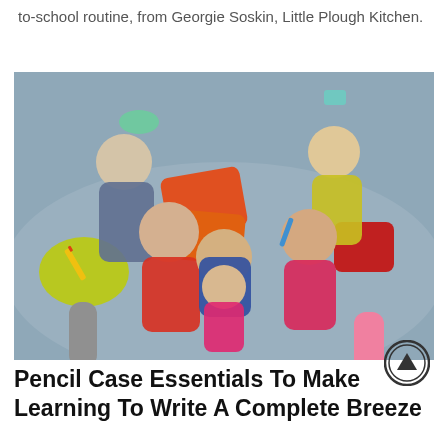to-school routine, from Georgie Soskin, Little Plough Kitchen.
[Figure (photo): Group of six children lying on the floor looking up at the camera, smiling and holding pencils and school supplies, with colorful cushions and backpacks around them.]
Pencil Case Essentials To Make Learning To Write A Complete Breeze